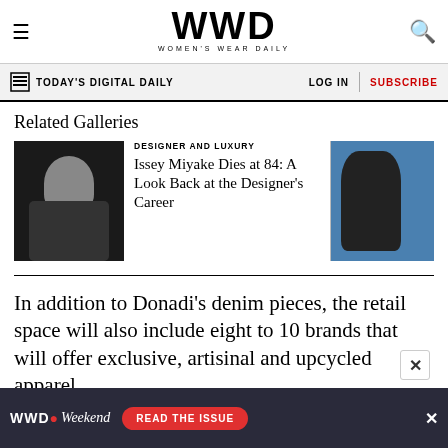WWD — Women's Wear Daily
TODAY'S DIGITAL DAILY | LOG IN | SUBSCRIBE
Related Galleries
[Figure (photo): Black and white photo of a man in dark clothing]
DESIGNER AND LUXURY
Issey Miyake Dies at 84: A Look Back at the Designer's Career
[Figure (photo): Color photo of a tennis player in action on court]
In addition to Donadi's denim pieces, the retail space will also include eight to 10 brands that will offer exclusive, artisinal and upcycled apparel,
[Figure (other): WWD Weekend advertisement banner — READ THE ISSUE]